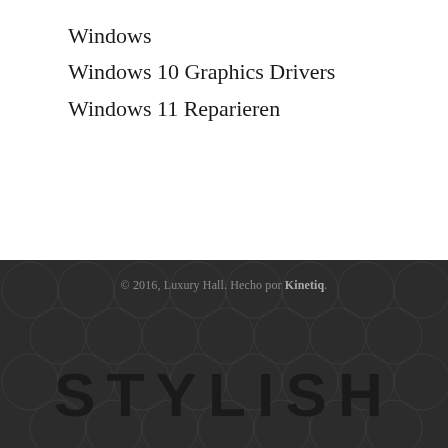Windows
Windows 10 Graphics Drivers
Windows 11 Reparieren
© 2016, Luxury Hall. Hecho por Kinetiq.
STYLISH